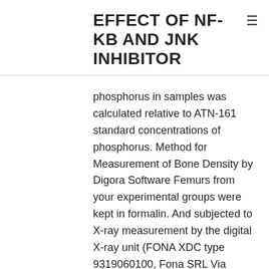EFFECT OF NF-KB AND JNK INHIBITOR
phosphorus in samples was calculated relative to ATN-161 standard concentrations of phosphorus. Method for Measurement of Bone Density by Digora Software Femurs from your experimental groups were kept in formalin. And subjected to X-ray measurement by the digital X-ray unit (FONA XDC type 9319060100, Fona SRL Via Galilei 11 Assao, Italy). Pictures were imported into Digora for Home windows 2 in that case.5 software. Denseness measurement device was selected; after that, region the distal femur was assessed. The software provides minimum, optimum and means